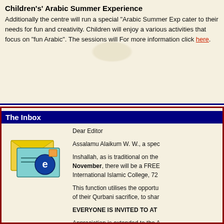Children's' Arabic Summer Experience
Additionally the centre will run a special “Arabic Summer Exp… cater to their needs for fun and creativity. Children will enjoy a various activities that focus on “fun Arabic”. The sessions will… For more information click here.
The Inbox
[Figure (illustration): An email envelope icon showing letters/envelopes with an 'e' symbol, representing an inbox]
Dear Editor

Assalamu Alaikum W. W., a spec…

Inshallah, as is traditional on the… November, there will be a FREE… International Islamic College, 72…

This function utilises the opportu… of their Qurbani sacrifice, to shar…

EVERYONE IS INVITED TO AT…

Appreciation is extended to the A…

Wasalam,
Hj.Sultan M. Deen

Dear CCN